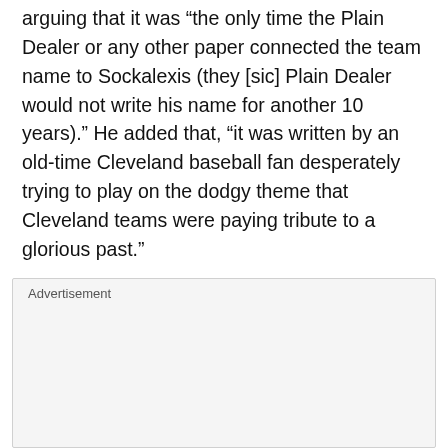arguing that it was “the only time the Plain Dealer or any other paper connected the team name to Sockalexis (they [sic] Plain Dealer would not write his name for another 10 years).” He added that, “it was written by an old-time Cleveland baseball fan desperately trying to play on the dodgy theme that Cleveland teams were paying tribute to a glorious past.”
Advertisement